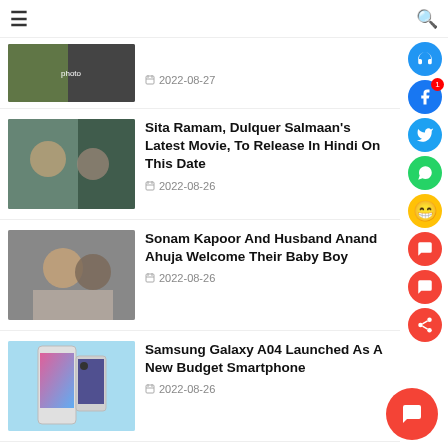☰  🔍
2022-08-27
Sita Ramam, Dulquer Salmaan's Latest Movie, To Release In Hindi On This Date
2022-08-26
Sonam Kapoor And Husband Anand Ahuja Welcome Their Baby Boy
2022-08-26
Samsung Galaxy A04 Launched As A New Budget Smartphone
2022-08-26